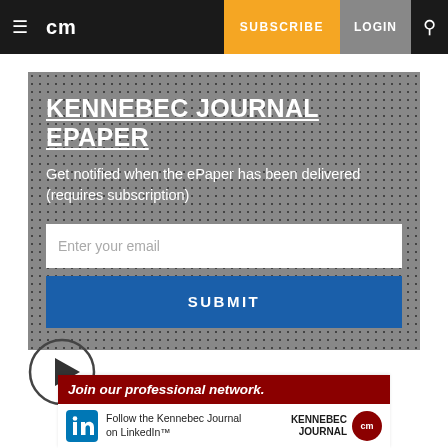cm | SUBSCRIBE | LOGIN
KENNEBEC JOURNAL EPAPER
Get notified when the ePaper has been delivered (requires subscription)
Enter your email
SUBMIT
[Figure (other): Play button circle icon]
Join our professional network. Follow the Kennebec Journal on LinkedIn™ | KENNEBEC JOURNAL | cm